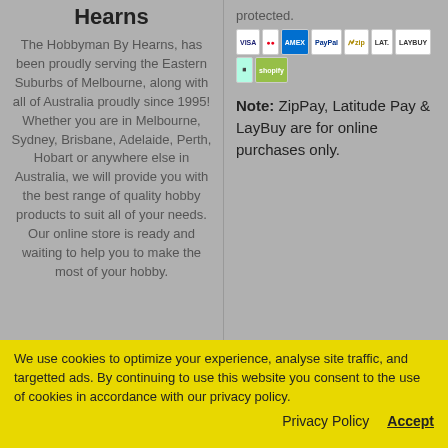Hearns
The Hobbyman By Hearns, has been proudly serving the Eastern Suburbs of Melbourne, along with all of Australia proudly since 1995! Whether you are in Melbourne, Sydney, Brisbane, Adelaide, Perth, Hobart or anywhere else in Australia, we will provide you with the best range of quality hobby products to suit all of your needs. Our online store is ready and waiting to help you to make the most of your hobby.
protected.
[Figure (other): Payment method icons: VISA, Mastercard, American Express, PayPal, Zip, Latitude, LayBuy, Afterpay, Shopify]
Note: ZipPay, Latitude Pay & LayBuy are for online purchases only.
We use cookies to optimize your experience, analyse site traffic, and targetted ads. By continuing to use this website you consent to the use of cookies in accordance with our privacy policy.
Privacy Policy   Accept